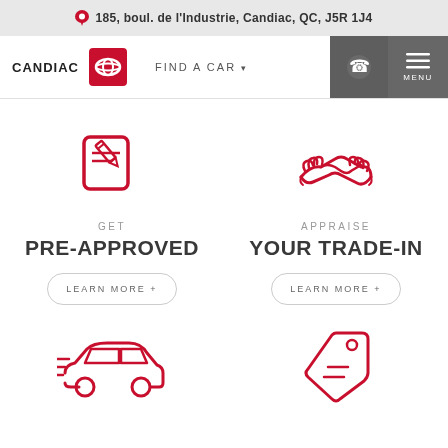185, boul. de l'Industrie, Candiac, QC, J5R 1J4
[Figure (screenshot): Candiac Toyota dealership website navigation bar with brand name CANDIAC, Toyota logo, FIND A CAR menu, phone button, and MENU button]
[Figure (illustration): Red outline icon of a notepad with a pencil, representing pre-approval form]
GET
PRE-APPROVED
LEARN MORE +
[Figure (illustration): Red outline icon of two hands shaking, representing trade-in appraisal]
APPRAISE
YOUR TRADE-IN
LEARN MORE +
[Figure (illustration): Red outline icon of a car with speed lines, representing vehicle service or delivery]
[Figure (illustration): Red outline icon of a price tag, representing pricing or deals]